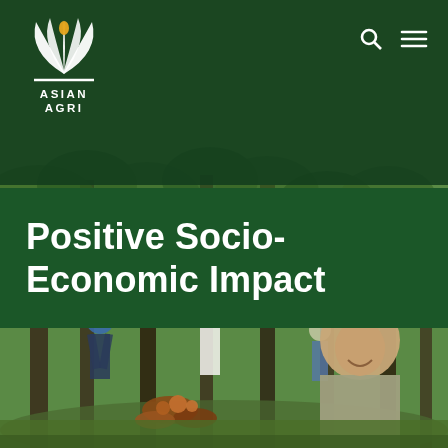[Figure (logo): Asian Agri logo — white stylized palm leaf / wave icon above the text ASIAN AGRI, on dark green background]
Positive Socio-Economic Impact
[Figure (photo): Workers in a palm oil plantation. In the foreground, a smiling man in a grey uniform and white hard hat with Asian Agri logo. Behind him, other workers in hard hats clearing palm biomass in a forest setting.]